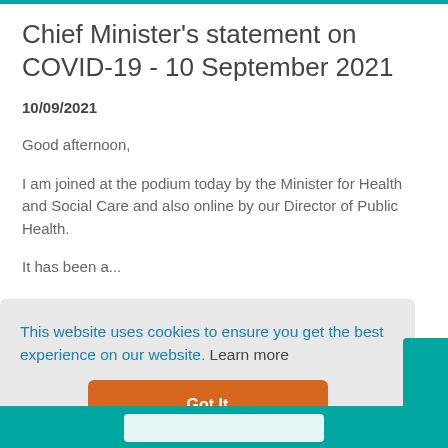Chief Minister's statement on COVID-19 - 10 September 2021
10/09/2021
Good afternoon,
I am joined at the podium today by the Minister for Health and Social Care and also online by our Director of Public Health.
It has been a...
This website uses cookies to ensure you get the best experience on our website. Learn more
Got It